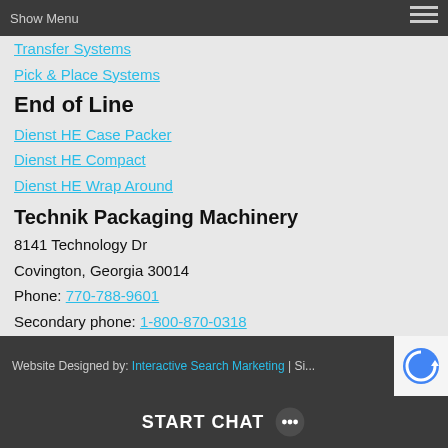Show Menu
Transfer Systems
Pick & Place Systems
End of Line
Dienst HE Case Packer
Dienst HE Compact
Dienst HE Wrap Around
Technik Packaging Machinery
8141 Technology Dr
Covington, Georgia 30014
Phone: 770-788-9601
Secondary phone: 1-800-870-0318
Also Visit Technik Packaging Services
Follow Us!
[Figure (illustration): Social media icons: Facebook, Google+, Twitter, LinkedIn]
Website Designed by: Interactive Search Marketing | Site...
START CHAT